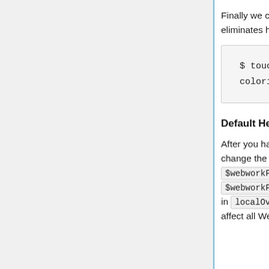Finally we create an empty math4-coloring.css file which eliminates harmless error messages.
$ touch math4-coloring.css
Default Header Files
After you have used WeBWorK for awhile, you may want to change the default header files in defaults.config. Search for $webworkFiles{screenSnippets} and $webworkFiles{hardcopySnippets} in localOverrides.config. Settings in the conf and config files affect all WeBWorK courses. You can override